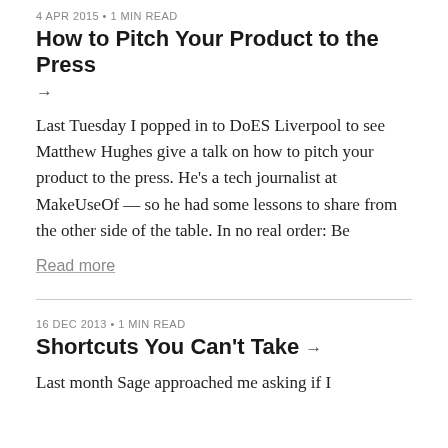4 APR 2015 • 1 MIN READ
How to Pitch Your Product to the Press →
Last Tuesday I popped in to DoES Liverpool to see Matthew Hughes give a talk on how to pitch your product to the press. He's a tech journalist at MakeUseOf — so he had some lessons to share from the other side of the table. In no real order: Be
Read more
16 DEC 2013 • 1 MIN READ
Shortcuts You Can't Take →
Last month Sage approached me asking if I